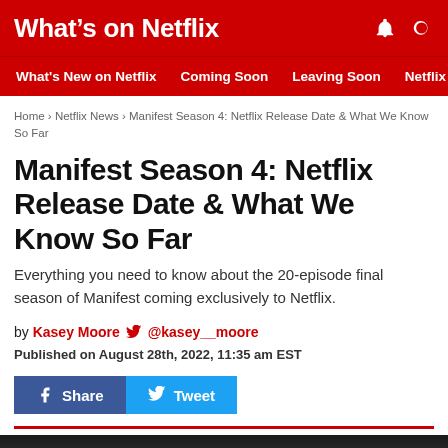What's on Netflix
What's New on Netflix | Coming Soon | Leaving Soon | Netflix News
Home › Netflix News › Manifest Season 4: Netflix Release Date & What We Know So Far
Manifest Season 4: Netflix Release Date & What We Know So Far
Everything you need to know about the 20-episode final season of Manifest coming exclusively to Netflix.
by Kasey Moore 🐦 @kasey__moore
Published on August 28th, 2022, 11:35 am EST
[Figure (other): Share and Tweet social media buttons]
[Figure (photo): Dark promo image for Manifest Season 4]